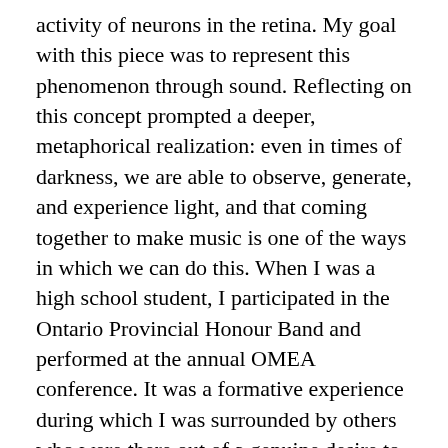activity of neurons in the retina. My goal with this piece was to represent this phenomenon through sound. Reflecting on this concept prompted a deeper, metaphorical realization: even in times of darkness, we are able to observe, generate, and experience light, and that coming together to make music is one of the ways in which we can do this. When I was a high school student, I participated in the Ontario Provincial Honour Band and performed at the annual OMEA conference. It was a formative experience during which I was surrounded by others who were there out of a genuine desire to share their love of music -- a beautiful example of “intrinsic” motivation. It has been ten years since I graduated from my high school music program, and five years since completing my post-secondary studies in music, and I am endlessly grateful to have been part of the music education community in Ontario. Music teachers are some of the unseen superheroes of this world, and it was a huge honour